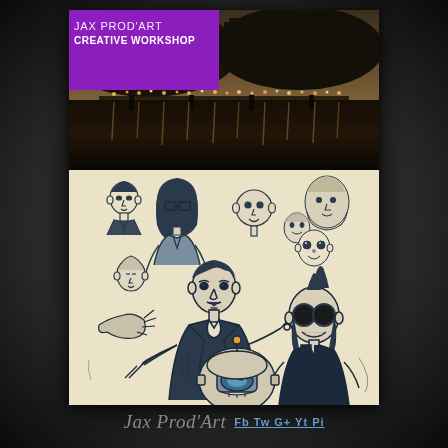[Figure (illustration): Jax Prod'Art Creative Workshop promotional card. Top half: night cityscape photo with city lights reflected on water and a castle/hill silhouette. Bottom half: hand-drawn sketch illustration of multiple cartoon characters including men and women in various poses. Purple triangular banner in top-left corner with branding text.]
JAX PROD'ART
CREATIVE WORKSHOP
Jax Prod'Art Fb Tw G+ Yt Pi